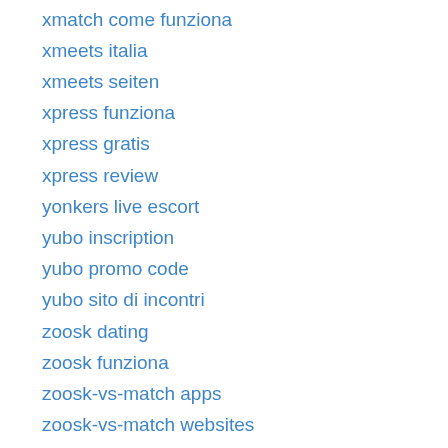xmatch come funziona
xmeets italia
xmeets seiten
xpress funziona
xpress gratis
xpress review
yonkers live escort
yubo inscription
yubo promo code
yubo sito di incontri
zoosk dating
zoosk funziona
zoosk-vs-match apps
zoosk-vs-match websites
zoosk-vs-okcupid apps for iphone